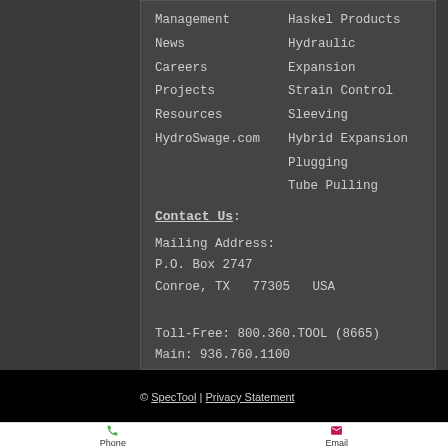Management
Haskel Products
News
Hydraulic Expansion
Careers
Strain Control Sleeving
Projects
Hybrid Expansion
Resources
Plugging
HydroSwage.com
Tube Pulling
Contact Us:
Mailing Address:
P.O. Box 2747
Conroe, TX  77305  USA
Toll-Free: 800.360.TOOL (8665)
Main: 936.760.1100
Fax: 936.760.3100
Email: contact@SpecTool.com
© SpecTool | Privacy Statement
[Figure (infographic): Phone and Email icon buttons at bottom of page. Green phone icon with label 'Phone' and pink/magenta envelope icon with label 'Email'.]